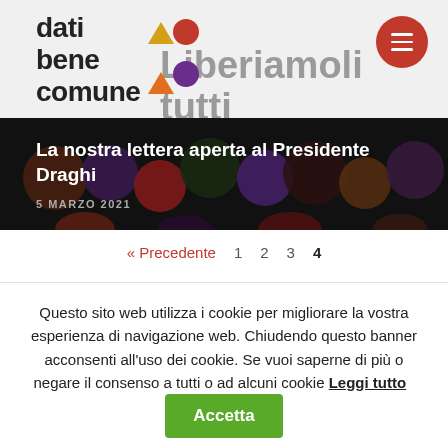[Figure (logo): Dati bene comune logo with geometric shapes (triangle, pentagon, circle in red, orange, purple)]
Liberiamoli tutti
La nostra lettera aperta al Presidente Draghi
5 MARZO 2021
« Precedente  1  2  3  4
Questo sito web utilizza i cookie per migliorare la vostra esperienza di navigazione web. Chiudendo questo banner acconsenti all'uso dei cookie. Se vuoi saperne di più o negare il consenso a tutti o ad alcuni cookie Leggi tutto
Accetta
Rifiuta